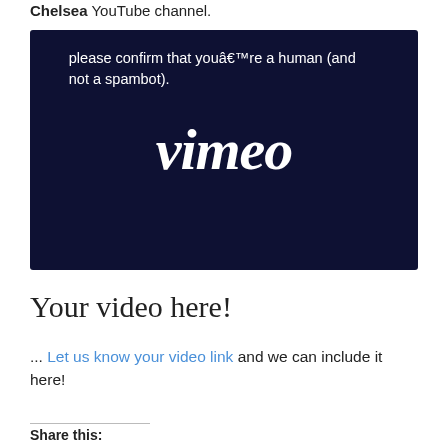Chelsea YouTube channel.
[Figure (screenshot): Vimeo CAPTCHA/verification screen with dark navy background showing the text 'please confirm that youâre a human (and not a spambot).' and the Vimeo logo in white italic script.]
Your video here!
... Let us know your video link and we can include it here!
Share this: